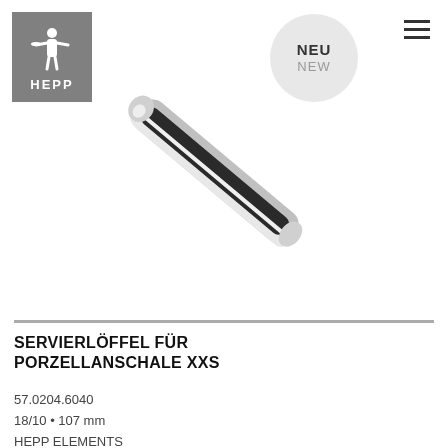[Figure (logo): HEPP brand logo with waiter figure on grey background]
[Figure (illustration): Badge circle with text NEU / NEW in grey]
[Figure (photo): Shiny chrome/silver serving spoon for porcelain bowl XXS, photographed diagonally on white background]
SERVIERLÖFFEL FÜR PORZELLANSCHALE XXS
57.0204.6040
18/10 • 107 mm
HEPP ELEMENTS